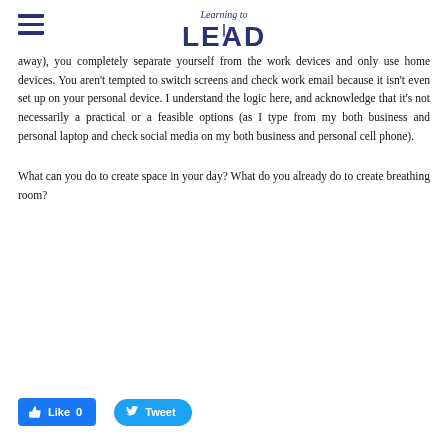Learning to LEAD
away), you completely separate yourself from the work devices and only use home devices. You aren't tempted to switch screens and check work email because it isn't even set up on your personal device. I understand the logic here, and acknowledge that it's not necessarily a practical or a feasible options (as I type from my both business and personal laptop and check social media on my both business and personal cell phone).
What can you do to create space in your day? What do you already do to create breathing room?
[Figure (other): Facebook Like button showing '0' likes and Twitter Tweet button]